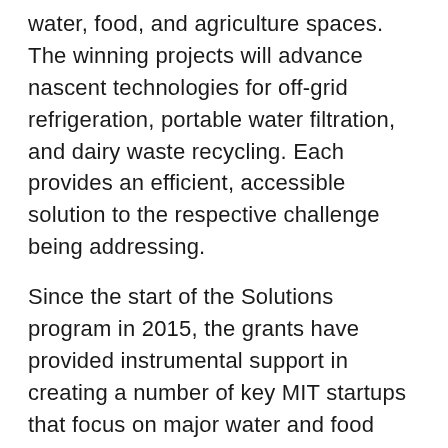water, food, and agriculture spaces. The winning projects will advance nascent technologies for off-grid refrigeration, portable water filtration, and dairy waste recycling. Each provides an efficient, accessible solution to the respective challenge being addressing.
Since the start of the Solutions program in 2015, the grants have provided instrumental support in creating a number of key MIT startups that focus on major water and food challenges. A 2015-2016 Solutions grant helped the team behind Via Separations develop their business plan to massively decarbonize industrial separations processes. Other successful Solutions alumni include researchers who created a low-cost water filter made from tree branches and the team that launched the startup Xibus Systems, which is developing a handheld food safety sensor.
“New technological advances are being made at